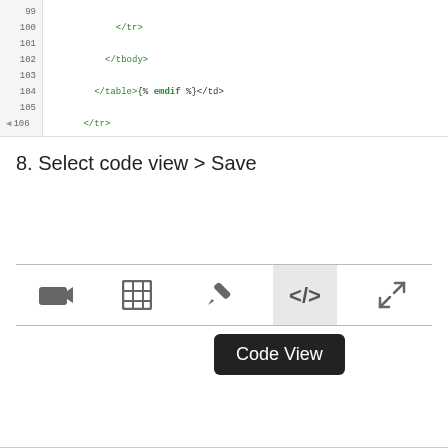[Figure (screenshot): Code editor screenshot showing HTML template lines 99-108, with line 106 highlighted in orange. Code shows closing tags for tr, tbody, table with endif, and a highlighted p tag with style text-align:right containing product taxable text.]
8. Select code view > Save
[Figure (screenshot): Toolbar with icons for video camera, grid/table, pencil/edit, code view (highlighted with gray background), and expand arrows. A tooltip bubble labeled 'Code View' appears below the code view icon.]